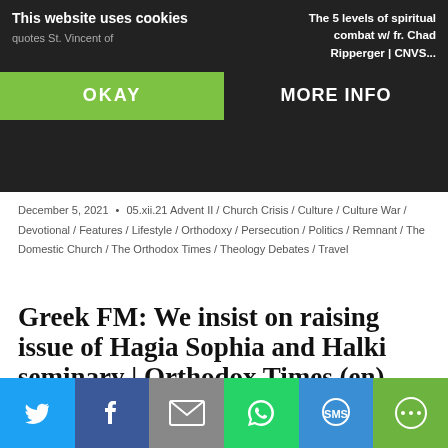This website uses cookies
The 5 levels of spiritual combat w/ fr. Chad Ripperger | CNVS...
OKAY
MORE INFO
December 5, 2021 • 05.xii.21 Advent II / Church Crisis / Culture / Culture War / Devotional / Features / Lifestyle / Orthodoxy / Persecution / Politics / Remnant / The Domestic Church / The Orthodox Times / Theology Debates / Travel
Greek FM: We insist on raising issue of Hagia Sophia and Halki seminary | Orthodox Times (en)
Privacy & Cookies: This site uses cookies. By continuing to use this website, you agree to their use.
To find out more, including how to control cookies, see here: Cookie Policy
[Figure (infographic): Social sharing bar with Twitter, Facebook, Email, WhatsApp, SMS, and More buttons]